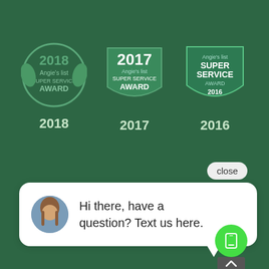[Figure (illustration): Three Angie's List Super Service Award badges for 2018, 2017, and 2016 displayed on a dark green background]
[Figure (screenshot): A chat widget popup with a 'close' button, a woman's avatar, and the text 'Hi there, have a question? Text us here.' with a green phone button below]